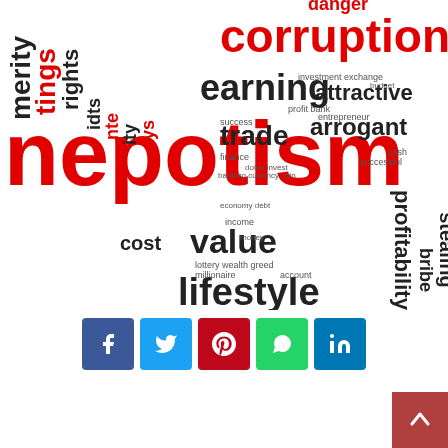[Figure (infographic): Word cloud centered on the word 'nepotism' in large red text, surrounded by related words such as corruption, danger, earning, trade, attractive, arrogant, lifestyle, monetary, problem, temptation, bribery, connection, commerce, reliability, giving, stealing, bribe, profitability, value, cost, greed, wealth, millionaire, account, success, finance, banking, investment, dollar, cash, profit, bank, income, economy, debt, currency, sale, credit, entrepreneur, budget, exchange, investment in various sizes and colors (red and dark gray/black).]
[Figure (infographic): Social media share buttons row: Facebook (blue), Twitter (light blue), Pinterest (dark red), WhatsApp (green), LinkedIn (blue)]
[Figure (other): Back to top button in brownish-red at bottom right corner with an upward arrow icon]